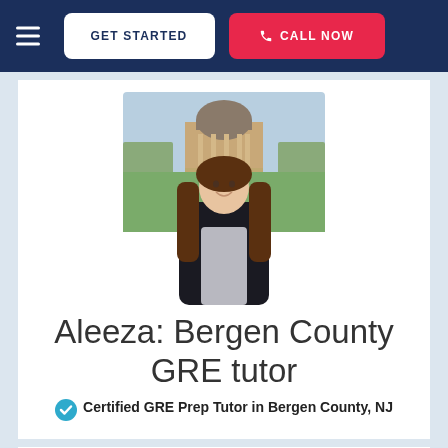GET STARTED | CALL NOW
[Figure (photo): Photo of Aleeza, a young woman with long brown hair, smiling in front of a domed university building on a green campus lawn, wearing a dark blazer.]
Aleeza: Bergen County GRE tutor
Certified GRE Prep Tutor in Bergen County, NJ